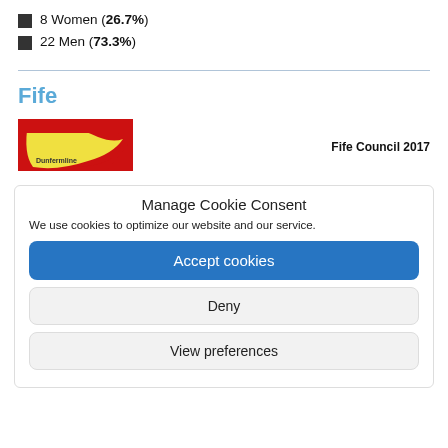8 Women (26.7%)
22 Men (73.3%)
Fife
[Figure (logo): Fife Council logo with red and yellow design, text 'Dunfermline']
Fife Council 2017
Manage Cookie Consent
We use cookies to optimize our website and our service.
Accept cookies
Deny
View preferences